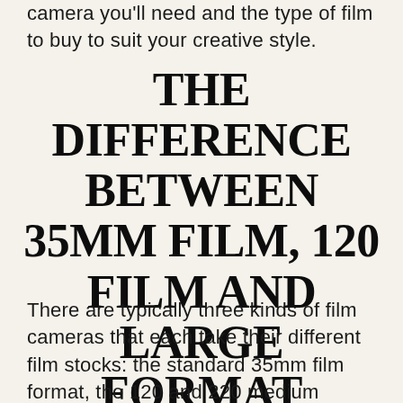camera you'll need and the type of film to buy to suit your creative style.
THE DIFFERENCE BETWEEN 35MM FILM, 120 FILM AND LARGE FORMAT
There are typically three kinds of film cameras that each take their different film stocks: the standard 35mm film format, the 120 and 220 medium format film, and the large format film and the